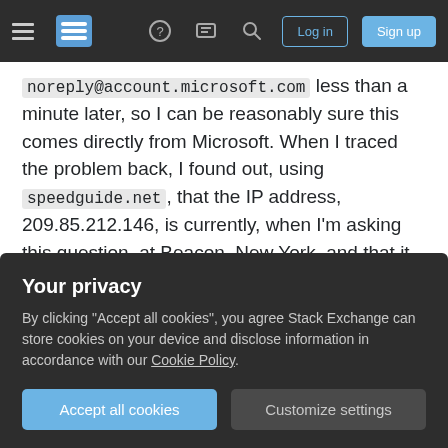Stack Exchange navigation bar with hamburger menu, logo, help, chat, search icons, Log in and Sign up buttons
noreply@account.microsoft.com less than a minute later, so I can be reasonably sure this comes directly from Microsoft. When I traced the problem back, I found out, using speedguide.net, that the IP address, 209.85.212.146, is currently, when I'm asking this question, at Beacon, New York, and that it is allocated to Google. This is backed up by a couple other Google search results for the IP range 209.85.x.x . I think this is Google trying to get my MSN email to show it in my linked Gmail account.
This brings up a couple questions:
Your privacy
By clicking "Accept all cookies", you agree Stack Exchange can store cookies on your device and disclose information in accordance with our Cookie Policy.
Accept all cookies    Customize settings
etc.? Worse, could it be someone pretending to be